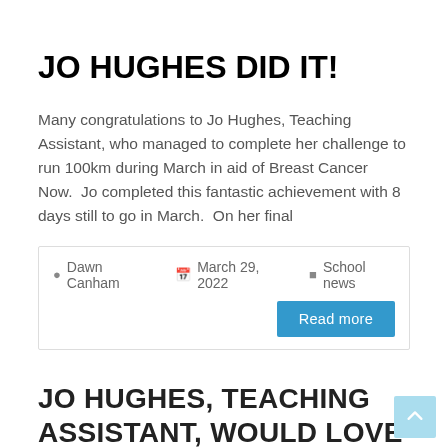JO HUGHES DID IT!
Many congratulations to Jo Hughes, Teaching Assistant, who managed to complete her challenge to run 100km during March in aid of Breast Cancer Now.  Jo completed this fantastic achievement with 8 days still to go in March.  On her final
Dawn Canham   March 29, 2022   School news
Read more
JO HUGHES, TEACHING ASSISTANT, WOULD LOVE YOUR SUPPORT...